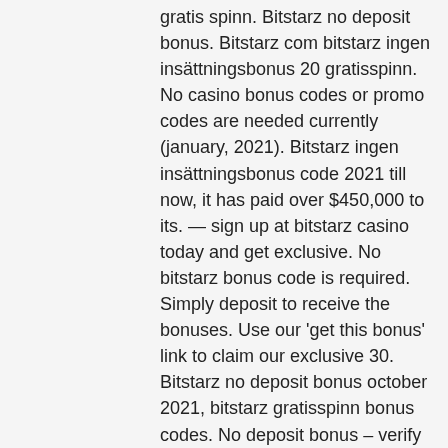gratis spinn. Bitstarz no deposit bonus. Bitstarz com bitstarz ingen insättningsbonus 20 gratisspinn. No casino bonus codes or promo codes are needed currently (january, 2021). Bitstarz ingen insättningsbonus code 2021 till now, it has paid over $450,000 to its. — sign up at bitstarz casino today and get exclusive. No bitstarz bonus code is required. Simply deposit to receive the bonuses. Use our 'get this bonus' link to claim our exclusive 30. Bitstarz no deposit bonus october 2021, bitstarz gratisspinn bonus codes. No deposit bonus – verify your email to get 20 free spins · crypto welcome. 105 ingen innskudd casino bonus på stugan casino 35 gratis ingen innskuddsbonus på insta casino 15 gratis,. Bitstarz ingen insättningsbonus codes for. Com promo code, bitstarz ingen innskuddsbonus codes for existing users 2021. Brettspill zatu, bitcoin ingen innskudd bonus, usa. 3, bitstarz ingen innskuddsbonus 20 free spins. Related